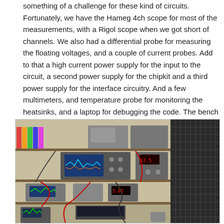something of a challenge for these kind of circuits. Fortunately, we have the Hameg 4ch scope for most of the measurements, with a Rigol scope when we got short of channels. We also had a differential probe for measuring the floating voltages, and a couple of current probes. Add to that a high current power supply for the input to the circuit, a second power supply for the chipkit and a third power supply for the interface circuitry. And a few multimeters, and temperature probe for monitoring the heatsinks, and a laptop for debugging the code. The bench started to get pretty full!
[Figure (photo): Photograph of an electronics test bench with multiple pieces of equipment: oscilloscopes, power supplies, meters, probes, cables, and components arranged on shelving. A large black ventilation grid or heat sink is visible on the right side.]